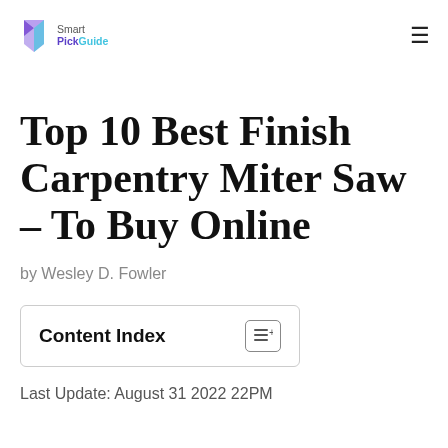Smart PickGuide
Top 10 Best Finish Carpentry Miter Saw – To Buy Online
by Wesley D. Fowler
Content Index
Last Update: August 31 2022 22PM